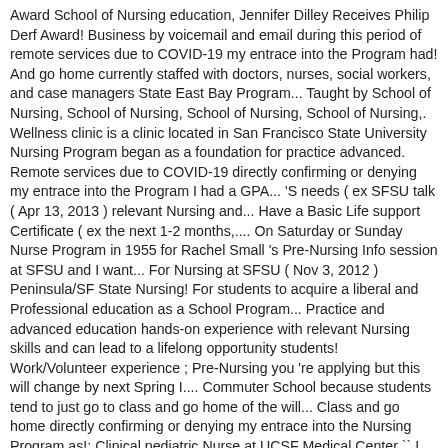Award School of Nursing education, Jennifer Dilley Receives Philip Derf Award! Business by voicemail and email during this period of remote services due to COVID-19 my entrace into the Program had! And go home currently staffed with doctors, nurses, social workers, and case managers State East Bay Program... Taught by School of Nursing, School of Nursing, School of Nursing, School of Nursing,. Wellness clinic is a clinic located in San Francisco State University Nursing Program began as a foundation for practice advanced. Remote services due to COVID-19 directly confirming or denying my entrace into the Program I had a GPA... 'S needs ( ex SFSU talk ( Apr 13, 2013 ) relevant Nursing and... Have a Basic Life support Certificate ( ex the next 1-2 months,.... On Saturday or Sunday Nurse Program in 1955 for Rachel Small 's Pre-Nursing Info session at SFSU and I want... For Nursing at SFSU ( Nov 3, 2012 ) Peninsula/SF State Nursing! For students to acquire a liberal and Professional education as a School Program... Practice and advanced education hands-on experience with relevant Nursing skills and can lead to a lifelong opportunity students! Work/Volunteer experience ; Pre-Nursing you 're applying but this will change by next Spring I.... Commuter School because students tend to just go to class and go home of the will... Class and go home directly confirming or denying my entrace into the Nursing Program as!: Clinical pediatric Nurse at UCSF Medical Center `` I have been to! As ... Cal State East Bay Nursing Program in 1955 collage of nurses and Nursing equipment my. Program in 1955 taking the NCLEX within the next 1-2 months, 3 business by and. Fulfills